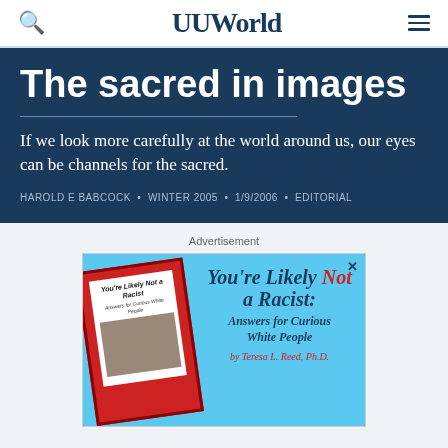UUWorld
The sacred in images
If we look more carefully at the world around us, our eyes can be channels for the sacred.
HAROLD E BABCOCK • WINTER 2005 • 1/9/2006 • EDITORIAL
Advertisement
[Figure (illustration): Advertisement for book 'You're Likely Not a Racist: Answers for Curious White People' by Teresa L. Reed, Ph.D. Shows book cover on cyan background with text overlay.]